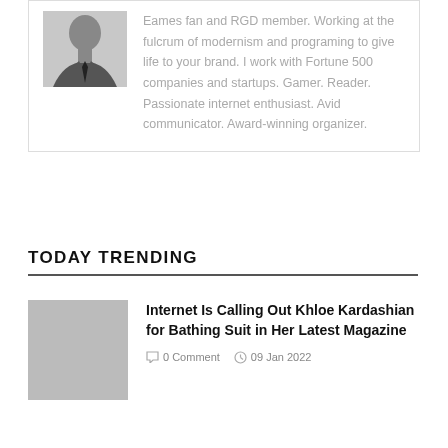[Figure (photo): Black and white portrait photo of a man in a suit and tie]
Eames fan and RGD member. Working at the fulcrum of modernism and programing to give life to your brand. I work with Fortune 500 companies and startups. Gamer. Reader. Passionate internet enthusiast. Avid communicator. Award-winning organizer.
TODAY TRENDING
Internet Is Calling Out Khloe Kardashian for Bathing Suit in Her Latest Magazine
0 Comment   09 Jan 2022